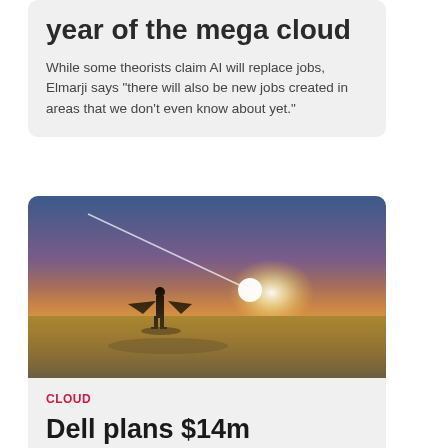2020 will be the year of the mega cloud
While some theorists claim AI will replace jobs, Elmarji says “there will also be new jobs created in areas that we don’t even know about yet.”
[Figure (photo): Child wearing cardboard wings standing in a field at sunset with a bright light streak in the sky]
CLOUD
Dell plans $14m donation: “It’s our responsibility to